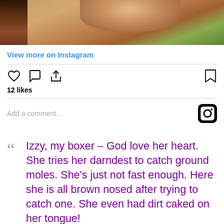[Figure (photo): Close-up photo of a brown dog's face/nose pressed into dirt/grass, with green grass visible in background. Left side shows a darker vertical bar.]
View more on Instagram
12 likes
Add a comment...
Izzy, my boxer – God love her heart. She tries her darndest to catch ground moles. She's just not fast enough. Here she is all brown nosed after trying to catch one. She even had dirt caked on her tongue!